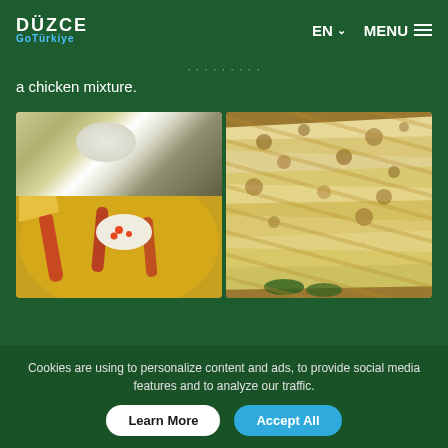DÜZCE GoTürkiye | EN MENU
a chicken mixture.
[Figure (photo): Two food photos side by side: left shows a yellow/golden dish (possibly hummus or lentil-based dish) with vegetables and garnish on a plate with side dishes in background; right shows stacked flatbreads/lavash with golden-brown spots.]
Cookies are using to personalize content and ads, to provide social media features and to analyze our traffic.
Learn More  Accept All